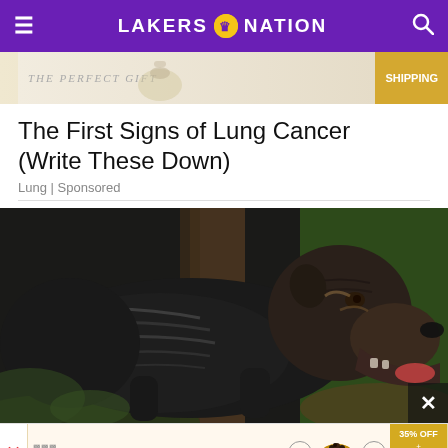LAKERS NATION
[Figure (photo): Top advertisement banner showing a teapot/product with 'SHIPPING' badge in gold on the right side]
The First Signs of Lung Cancer (Write These Down)
Lung | Sponsored
[Figure (photo): Large black Cane Corso dog with brindle markings standing outdoors near trees and foliage, mouth open, facing right]
[Figure (photo): Bottom advertisement for 'The perfect gift' showing food product with arrows and '35% OFF + FREE SHIPPING' offer badge]